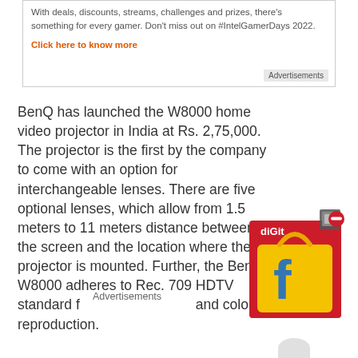With deals, discounts, streams, challenges and prizes, there's something for every gamer. Don't miss out on #IntelGamerDays 2022.
Click here to know more
Advertisements
BenQ has launched the W8000 home video projector in India at Rs. 2,75,000. The projector is the first by the company to come with an option for interchangeable lenses. There are five optional lenses, which allow from 1.5 meters to 11 meters distance between the screen and the location where the projector is mounted. Further, the BenQ W8000 adheres to Rec. 709 HDTV standard for and colour reproduction.
Advertisements
[Figure (illustration): Flipkart Digit branded box with shopping bag graphic and 3D cube icon with red minus button overlay]